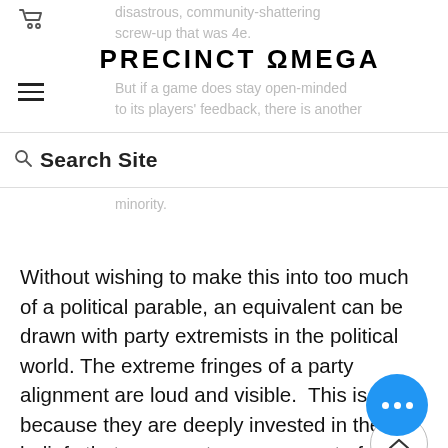PRECINCT OMEGA
disastrous, community-shattering screw-up that was 4e.
But if a game does stay open-minded to its players' feedback, there is another
noisy minority.
[Figure (screenshot): Search Site input field with magnifying glass icon]
Without wishing to make this into too much of a political parable, an equivalent can be drawn with party extremists in the political world. The extreme fringes of a party alignment are loud and visible. This is because they are deeply invested in their beliefs that represent a core aspect of their identity. An assault on their beliefs is indistinguishable from an assault on